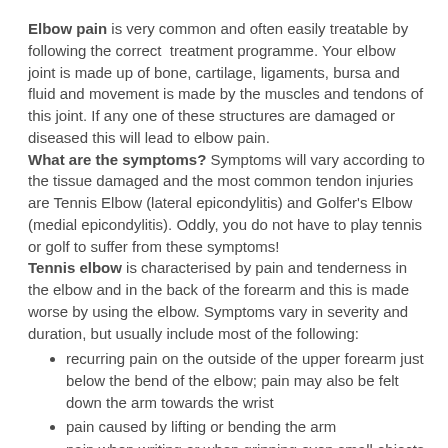Elbow pain is very common and often easily treatable by following the correct treatment programme. Your elbow joint is made up of bone, cartilage, ligaments, bursa and fluid and movement is made by the muscles and tendons of this joint. If any one of these structures are damaged or diseased this will lead to elbow pain.
What are the symptoms? Symptoms will vary according to the tissue damaged and the most common tendon injuries are Tennis Elbow (lateral epicondylitis) and Golfer's Elbow (medial epicondylitis). Oddly, you do not have to play tennis or golf to suffer from these symptoms!
Tennis elbow is characterised by pain and tenderness in the elbow and in the back of the forearm and this is made worse by using the elbow. Symptoms vary in severity and duration, but usually include most of the following:
recurring pain on the outside of the upper forearm just below the bend of the elbow; pain may also be felt down the arm towards the wrist
pain caused by lifting or bending the arm
pain when writing or when gripping even small objects such as a pen